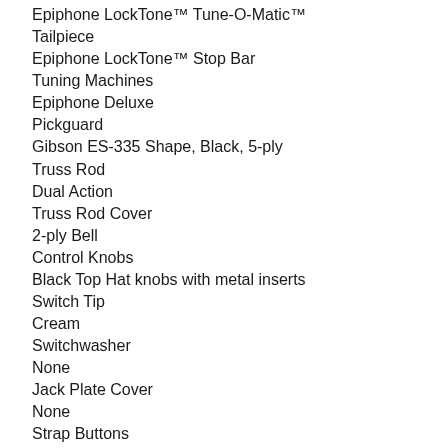Epiphone LockTone™ Tune-O-Matic™ Tailpiece
Epiphone LockTone™ Stop Bar
Tuning Machines
Epiphone Deluxe
Pickguard
Gibson ES-335 Shape, Black, 5-ply
Truss Rod
Dual Action
Truss Rod Cover
2-ply Bell
Control Knobs
Black Top Hat knobs with metal inserts
Switch Tip
Cream
Switchwasher
None
Jack Plate Cover
None
Strap Buttons
2 - bottom and heel
Mounting Rings